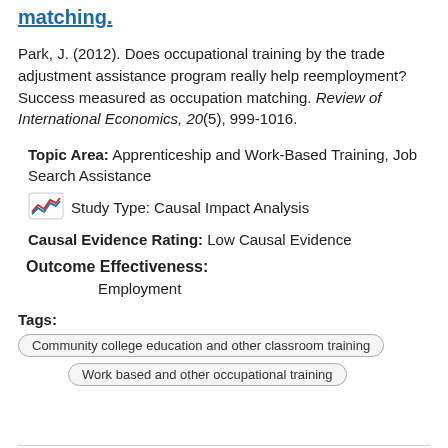matching.
Park, J. (2012). Does occupational training by the trade adjustment assistance program really help reemployment? Success measured as occupation matching. Review of International Economics, 20(5), 999-1016.
Topic Area: Apprenticeship and Work-Based Training, Job Search Assistance
Study Type: Causal Impact Analysis
Causal Evidence Rating: Low Causal Evidence
Outcome Effectiveness:
Employment
Tags: Community college education and other classroom training | Work based and other occupational training